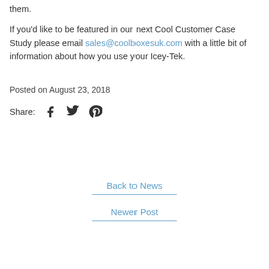them.
If you'd like to be featured in our next Cool Customer Case Study please email sales@coolboxesuk.com with a little bit of information about how you use your Icey-Tek.
Posted on August 23, 2018
Share:
Back to News
Newer Post